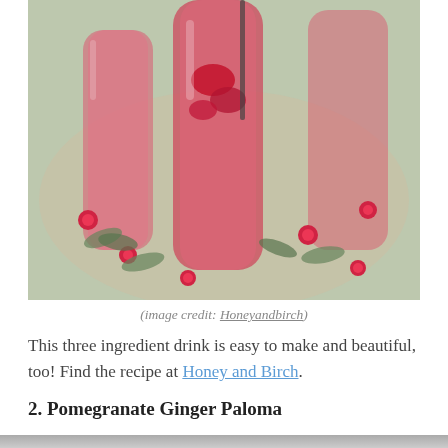[Figure (photo): Overhead view of tall champagne flute glasses filled with red pomegranate drink on a wooden tray decorated with holly, cranberries, and greenery]
(image credit: Honeyandbirch)
This three ingredient drink is easy to make and beautiful, too! Find the recipe at Honey and Birch.
2. Pomegranate Ginger Paloma